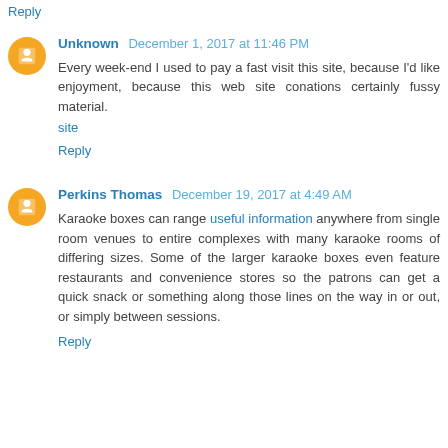Reply
Unknown December 1, 2017 at 11:46 PM
Every week-end I used to pay a fast visit this site, because I'd like enjoyment, because this web site conations certainly fussy material.
site
Reply
Perkins Thomas December 19, 2017 at 4:49 AM
Karaoke boxes can range useful information anywhere from single room venues to entire complexes with many karaoke rooms of differing sizes. Some of the larger karaoke boxes even feature restaurants and convenience stores so the patrons can get a quick snack or something along those lines on the way in or out, or simply between sessions.
Reply